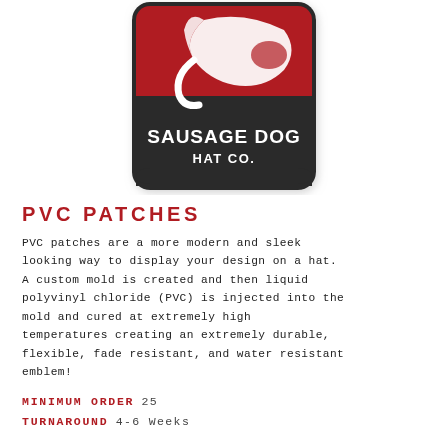[Figure (photo): Photo of a PVC patch for Sausage Dog Hat Co. — a rectangular patch with rounded corners, black border/frame, red upper section with a white stylized dog logo, and black lower section with white bold text reading 'SAUSAGE DOG HAT CO.']
PVC PATCHES
PVC patches are a more modern and sleek looking way to display your design on a hat. A custom mold is created and then liquid polyvinyl chloride (PVC) is injected into the mold and cured at extremely high temperatures creating an extremely durable, flexible, fade resistant, and water resistant emblem!
MINIMUM ORDER 25
TURNAROUND 4-6 WEEKS